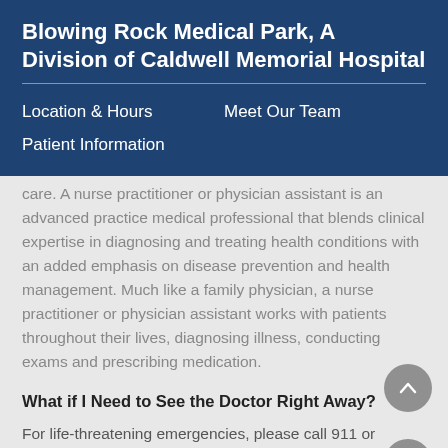Blowing Rock Medical Park, A Division of Caldwell Memorial Hospital
Location & Hours
Meet Our Team
Patient Information
care. A nurse practitioner or physician assistant is an advanced practice medical professional that blends clinical expertise in diagnosing and treating health conditions with an added emphasis on disease prevention and health management. Much like a family physician, a nurse practitioner or physician assistant works with patients throughout their lives, diagnosing illness, conducting exams and prescribing medication.
What if I Need to See the Doctor Right Away?
For life-threatening emergencies, please call 911 or